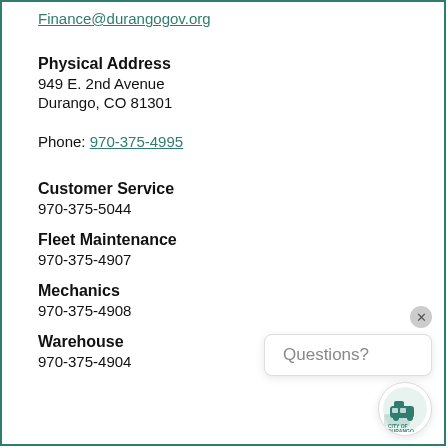Finance@durangogov.org
Physical Address
949 E. 2nd Avenue
Durango, CO 81301
Phone: 970-375-4995
Customer Service
970-375-5044
Fleet Maintenance
970-375-4907
Mechanics
970-375-4908
Warehouse
970-375-4904